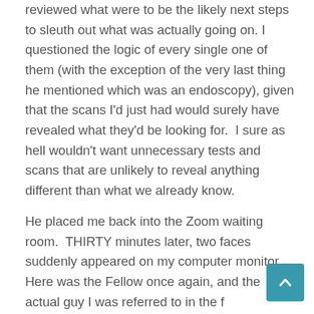reviewed what were to be the likely next steps to sleuth out what was actually going on. I questioned the logic of every single one of them (with the exception of the very last thing he mentioned which was an endoscopy), given that the scans I'd just had would surely have revealed what they'd be looking for.  I sure as hell wouldn't want unnecessary tests and scans that are unlikely to reveal anything different than what we already know.
He placed me back into the Zoom waiting room.  THIRTY minutes later, two faces suddenly appeared on my computer monitor.  Here was the Fellow once again, and the actual guy I was referred to in the first place. I'd looked him up.  He supervises everyone else there, including the liver transplant team.  He's heavy into liver care generally.  Not to be too cynical,